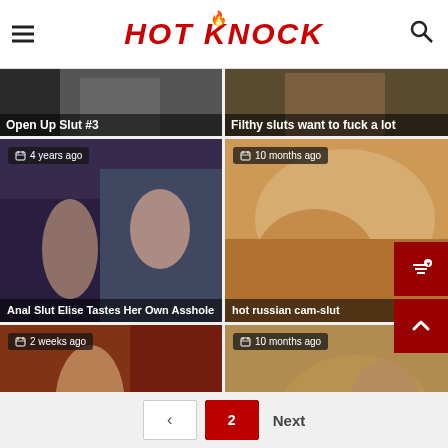HOT KNOCK
[Figure (screenshot): Partial thumbnail: Open Up Slut #3]
[Figure (screenshot): Partial thumbnail: Filthy sluts want to fuck a lot]
[Figure (screenshot): Thumbnail: Anal Slut Elise Tastes Her Own Asshole, 4 years ago]
[Figure (screenshot): Thumbnail: hot russian cam-slut, 10 months ago]
[Figure (screenshot): Thumbnail: Horny slut gets fucked indoors, 2 weeks ago]
[Figure (screenshot): Thumbnail: German amateur slut opens all her hol..., 10 months ago]